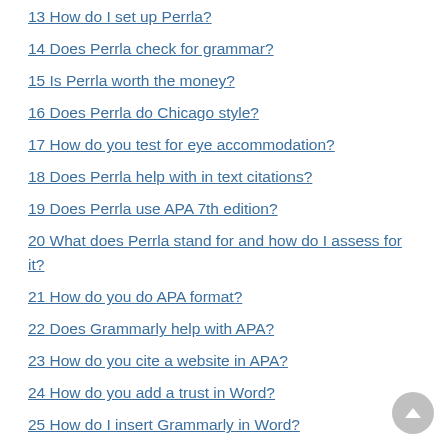13 How do I set up Perrla?
14 Does Perrla check for grammar?
15 Is Perrla worth the money?
16 Does Perrla do Chicago style?
17 How do you test for eye accommodation?
18 Does Perrla help with in text citations?
19 Does Perrla use APA 7th edition?
20 What does Perrla stand for and how do I assess for it?
21 How do you do APA format?
22 Does Grammarly help with APA?
23 How do you cite a website in APA?
24 How do you add a trust in Word?
25 How do I insert Grammarly in Word?
26 How do I fix sorry Microsoft 365 has been configured to prevent individual acquisition of Office add-ins?
27 What is normal Perrla?